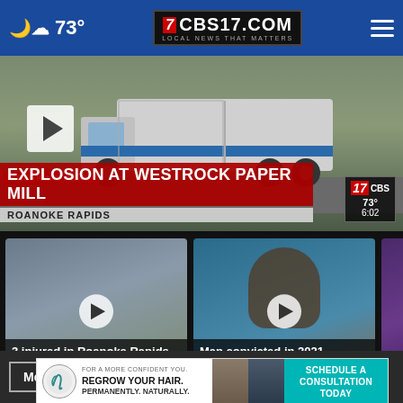CBS17.COM — LOCAL NEWS THAT MATTERS | 73° weather
[Figure (screenshot): Breaking news video thumbnail showing a white utility truck/van on a road. Breaking news ticker reads: EXPLOSION AT WESTROCK PAPER MILL, ROANOKE RAPIDS. CBS 17 bug showing 73° and 6:02.]
BREAKING NEWS
EXPLOSION AT WESTROCK PAPER MILL
ROANOKE RAPIDS
[Figure (screenshot): Video thumbnail: 3 injured in Roanoke Rapids paper mill... — 2 hours ago]
3 injured in Roanoke Rapids paper mill...
2 hours ago
[Figure (screenshot): Video thumbnail: Man convicted in 2021 shootout with Nash... — 3 hours ago]
Man convicted in 2021 shootout with Nash...
3 hours ago
[Figure (screenshot): Partial video thumbnail: Track Rapid...]
Track Rapid...
Mo... Vi...
[Figure (infographic): Advertisement banner: For a more confident you. Regrow your hair. Permanently. Naturally. Schedule a Consultation Today. Hair restoration logo on left, cyan/teal button on right with mugshot photos.]